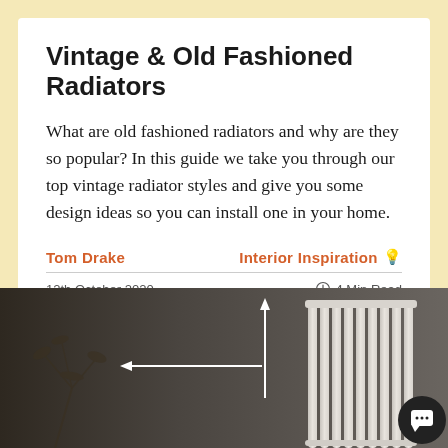Vintage & Old Fashioned Radiators
What are old fashioned radiators and why are they so popular? In this guide we take you through our top vintage radiator styles and give you some design ideas so you can install one in your home.
Tom Drake
Interior Inspiration 💡
12th October 2020
4 Min Read
[Figure (photo): Photo of a modern column radiator against a dark gray wall with white arrow measurement lines indicating dimensions, and a decorative plant branch in the lower left corner. A dark circular chat button is visible in the lower right corner.]